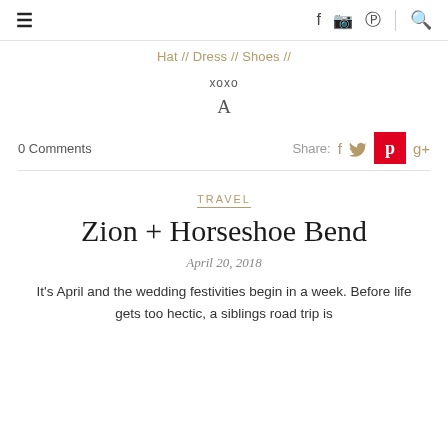☰  f  📷   pinterest  🔍
Hat // Dress // Shoes //
xoxo
A
0 Comments   Share: f  twitter  pinterest  g+
TRAVEL
Zion + Horseshoe Bend
April 20, 2018
It's April and the wedding festivities begin in a week. Before life gets too hectic, a siblings road trip is